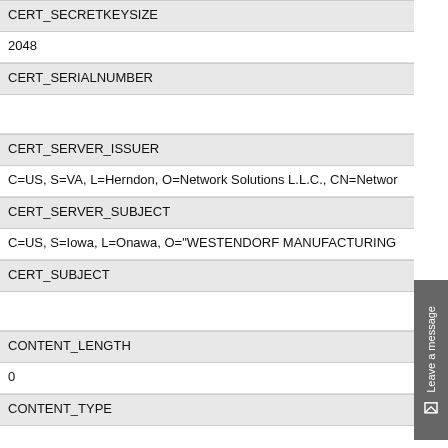| CERT_SECRETKEYSIZE |
| 2048 |
| CERT_SERIALNUMBER |
|  |
| CERT_SERVER_ISSUER |
| C=US, S=VA, L=Herndon, O=Network Solutions L.L.C., CN=Networ… |
| CERT_SERVER_SUBJECT |
| C=US, S=Iowa, L=Onawa, O="WESTENDORF MANUFACTURING… |
| CERT_SUBJECT |
|  |
| CONTENT_LENGTH |
| 0 |
| CONTENT_TYPE |
|  |
| GATEWAY_INTERFACE |
| CGI/1.1 |